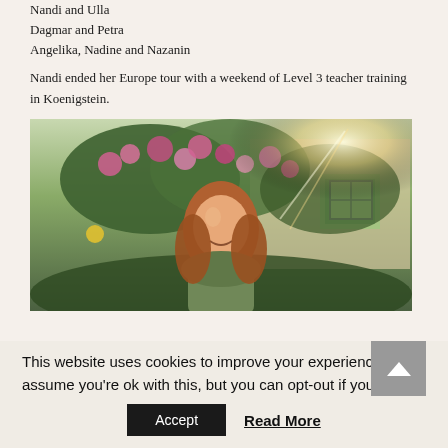Nandi and Ulla
Dagmar and Petra
Angelika, Nadine and Nazanin
Nandi ended her Europe tour with a weekend of Level 3 teacher training in Koenigstein.
[Figure (photo): A smiling woman with long reddish-brown hair standing outdoors in front of flowering rose bushes and a building with windows. Sunlight flares visible in upper right.]
This website uses cookies to improve your experience. We'll assume you're ok with this, but you can opt-out if you wish.